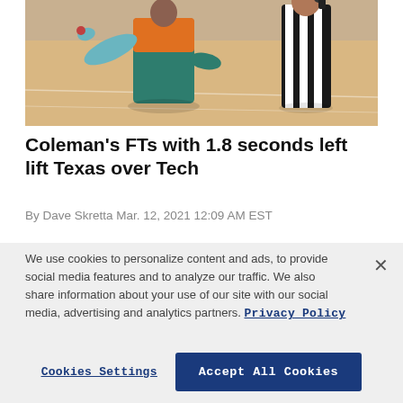[Figure (photo): Basketball player in orange and teal jersey gesturing with arm outstretched toward a referee in black and white striped shirt on a basketball court]
Coleman's FTs with 1.8 seconds left lift Texas over Tech
By Dave Skretta Mar. 12, 2021 12:09 AM EST
We use cookies to personalize content and ads, to provide social media features and to analyze our traffic. We also share information about your use of our site with our social media, advertising and analytics partners. Privacy Policy
Cookies Settings  Accept All Cookies